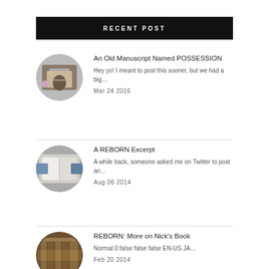RECENT POST
[Figure (photo): Circular avatar photo - person working at desk from above, book/laptop visible]
An Old Manuscript Named POSSESSION
Hey yo! I meant to post this sooner, but we had a big…
Mar 24 2016
[Figure (photo): Circular avatar photo - open book or white fabric, blurred blue background]
A REBORN Excerpt
A while back, someone asked me on Twitter to post an…
Aug 06 2014
[Figure (photo): Circular avatar photo - library or bookshelf interior with warm lighting]
REBORN: More on Nick's Book
Normal 0 false false false EN-US JA…
Feb 20 2014
Salt & Erased Release Day Fun